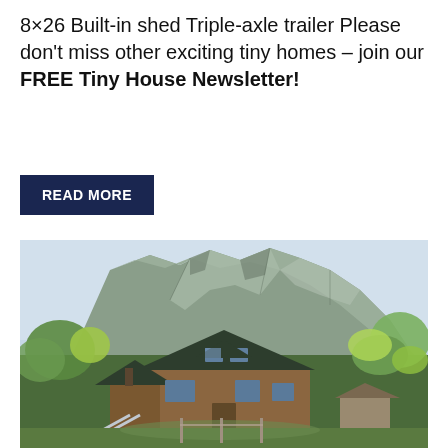8×26 Built-in shed Triple-axle trailer Please don't miss other exciting tiny homes – join our FREE Tiny House Newsletter!
READ MORE
[Figure (photo): A wooden cabin/tiny house with a dark green metal roof featuring skylights, set against a dramatic large rocky cliff face. Surrounding vegetation includes green trees and shrubs. A slide or ramp is visible on the left side.]